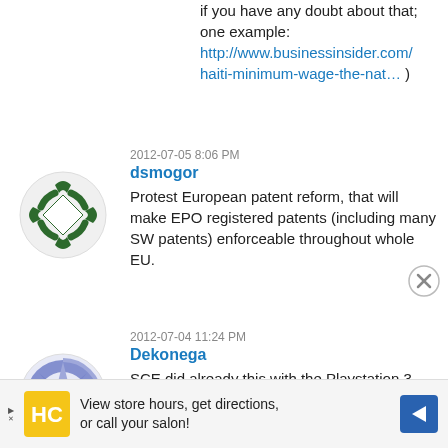if you have any doubt about that; one example: http://www.businessinsider.com/haiti-minimum-wage-the-nat… )
2012-07-05 8:06 PM
dsmogor
Protest European patent reform, that will make EPO registered patents (including many SW patents) enforceable throughout whole EU.
[Figure (logo): Green circular arrow/diamond logo avatar for user dsmogor]
2012-07-04 11:24 PM
Dekonega
SCE did already this with the Playstation 3 and OtherOS bootloader functionality. Except that they where not forced to it and they had promised not to remove the
[Figure (logo): Blue circular compass/star logo avatar for user Dekonega]
View store hours, get directions, or call your salon!